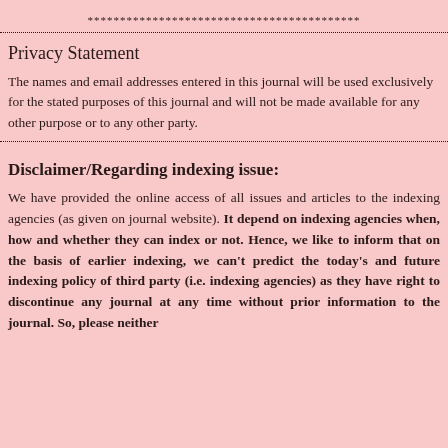******************************************
Privacy Statement
The names and email addresses entered in this journal will be used exclusively for the stated purposes of this journal and will not be made available for any other purpose or to any other party.
Disclaimer/Regarding indexing issue:
We have provided the online access of all issues and articles to the indexing agencies (as given on journal website). It depends on indexing agencies when, how and whether they can index or not. Hence, we like to inform that on the basis of earlier indexing, we can't predict the today's and future indexing policy of third party (i.e. indexing agencies) as they have right to discontinue any journal at any time without prior information to the journal. So, please neither...